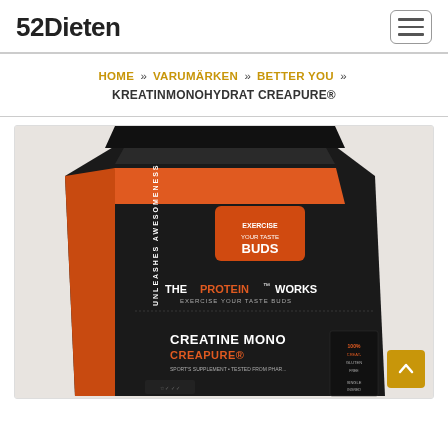52Dieten
HOME » VARUMÄRKEN » BETTER YOU » KREATINMONOHYDRAT CREAPURE®
[Figure (photo): Product photo of The Protein Works Creatine Mono Creapure® supplement bag. Black bag with orange stripe and branding. Text reads: EXERCISE YOUR TASTE BUDS, THE PROTEIN WORKS, CREATINE MONO CREAPURE®, UNLEASHES AWESOMENESS.]